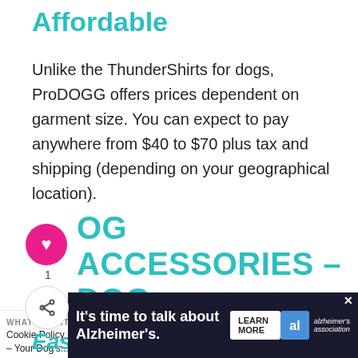Affordable
Unlike the ThunderShirts for dogs, ProDOGG offers prices dependent on garment size. You can expect to pay anywhere from $40 to $70 plus tax and shipping (depending on your geographical location).
DOG ACCESSORIES –DOG BOWLS, COLLARS, & LEASHES
WHAT'S NEXT → Cookie Policy – Your Dog's...
Easy to Put On
[Figure (advertisement): Alzheimer's Association ad banner: 'It's time to talk about Alzheimer's.' with Learn More button and association logo.]